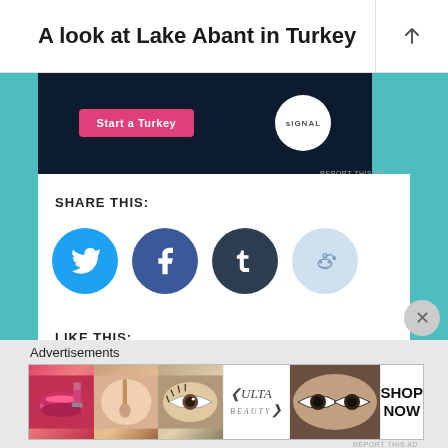A look at Lake Abant in Turkey
[Figure (screenshot): Dark-background advertisement banner with pink button reading 'Start a Turkey' and a white Signal circular logo on the right]
REPORT THIS AD
SHARE THIS:
[Figure (infographic): Four social sharing icon circles: Twitter (light blue), Facebook (dark blue), Tumblr (dark navy), Reddit (light blue/gray)]
LIKE THIS:
Loading...
Advertisements
[Figure (photo): Bottom advertisement strip showing cosmetics/makeup imagery including lips, brush, eye, Ulta Beauty logo, and eyes with 'SHOP NOW' text]